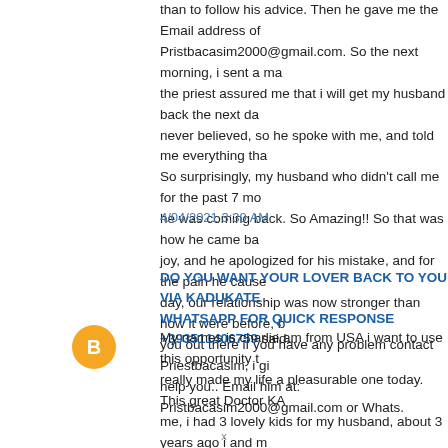than to follow his advice. Then he gave me the Email address of Pristbacasim2000@gmail.com. So the next morning, i sent a ma the priest assured me that i will get my husband back the next da never believed, so he spoke with me, and told me everything tha So surprisingly, my husband who didn't call me for the past 7 mo he was coming back. So Amazing!! So that was how he came ba joy, and he apologized for his mistake, and for the pain he cause day, our relationship was now stronger than how it were before, b you out there if you have any problem contact Priestbacasim, i gi help you.. Email him at: Pristbacasim2000@gmail.com or Whats.
4/04/2021 3:30 AM
DO YOU WANT YOUR LOVER BACK TO YOU VIA KADUKATE WHATSAPP FOR QUICK RESPONSE +393511406759 said...
My names is charlie am from USA i want to use this opportunity t really made my life a pleasurable one today. This great Doctor KA me, i had 3 lovely kids for my husband, about 3 years ago i and n or the other until he finally left me for one lady. i felt my life was o